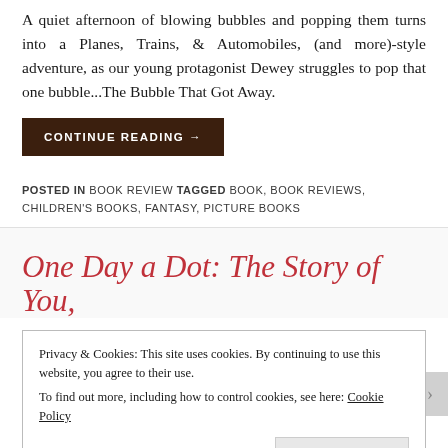A quiet afternoon of blowing bubbles and popping them turns into a Planes, Trains, & Automobiles, (and more)-style adventure, as our young protagonist Dewey struggles to pop that one bubble...The Bubble That Got Away.
CONTINUE READING →
POSTED IN BOOK REVIEW TAGGED BOOK, BOOK REVIEWS, CHILDREN'S BOOKS, FANTASY, PICTURE BOOKS
One Day a Dot: The Story of You,
Privacy & Cookies: This site uses cookies. By continuing to use this website, you agree to their use. To find out more, including how to control cookies, see here: Cookie Policy
Close and accept